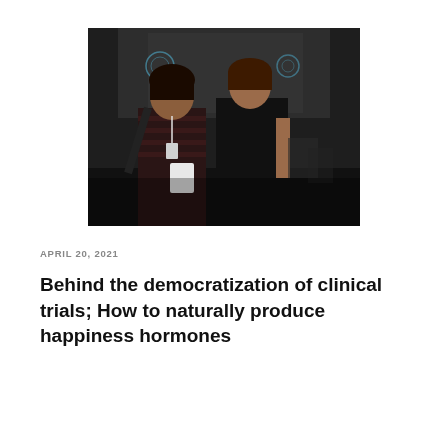[Figure (photo): Two women posing together at an event, one wearing a striped top with a lanyard and holding papers, the other in a black dress. Dark background with projection screen visible.]
APRIL 20, 2021
Behind the democratization of clinical trials; How to naturally produce happiness hormones